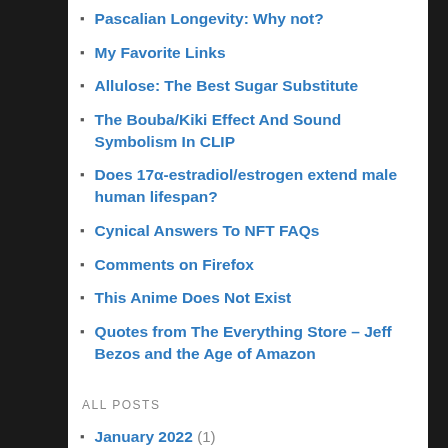Pascalian Longevity: Why not?
My Favorite Links
Allulose: The Best Sugar Substitute
The Bouba/Kiki Effect And Sound Symbolism In CLIP
Does 17α-estradiol/estrogen extend male human lifespan?
Cynical Answers To NFT FAQs
Comments on Firefox
This Anime Does Not Exist
Quotes from The Everything Store – Jeff Bezos and the Age of Amazon
ALL POSTS
January 2022 (1)
December 2021 (2)
November 2021 (1)
August 2021 (1)
April 2021 (1)
March 2021 (1)
February 2021 (1)